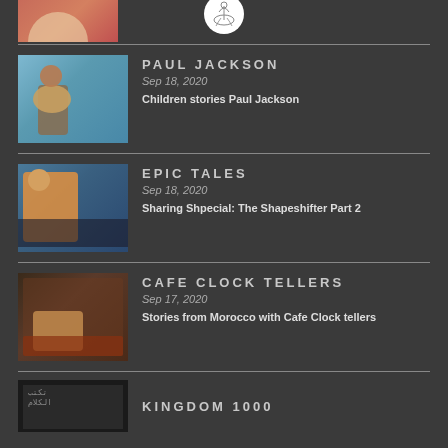[Figure (photo): Partial photo of a person in red clothing at top left, with a circular logo/emblem in white circle at top center]
PAUL JACKSON | Sep 18, 2020 | Children stories Paul Jackson
EPIC TALES | Sep 18, 2020 | Sharing Shpecial: The Shapeshifter Part 2
CAFE CLOCK TELLERS | Sep 17, 2020 | Stories from Morocco with Cafe Clock tellers
KINGDOM 1000